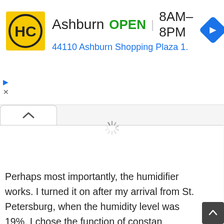[Figure (screenshot): Advertisement banner for HC (Home Depot or similar) showing Ashburn location: OPEN 8AM-8PM, address 44110 Ashburn Shopping Plaza 1., with yellow HC logo and blue navigation arrow icon]
[Figure (screenshot): Web page UI element: chevron/up-arrow tab button and loading spinner icon on white background panel]
Perhaps most importantly, the humidifier works. I turned it on after my arrival from St. Petersburg, when the humidity level was 19%. I chose the function of constant humidification with an aim of 60%, in about 12 hours Mi...